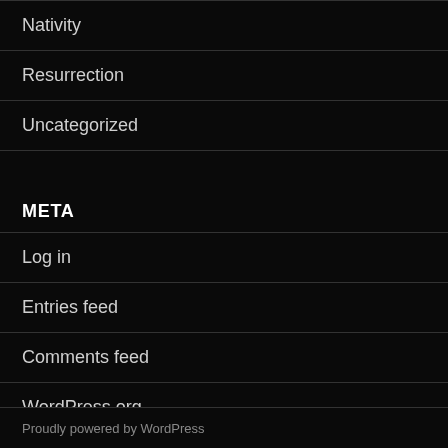Nativity
Resurrection
Uncategorized
META
Log in
Entries feed
Comments feed
WordPress.org
Proudly powered by WordPress